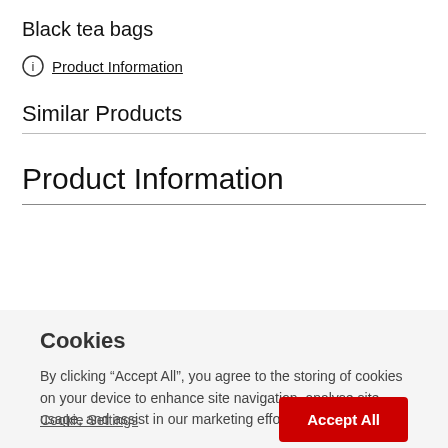Black tea bags
ⓘ Product Information
Similar Products
Product Information
Cookies
By clicking “Accept All”, you agree to the storing of cookies on your device to enhance site navigation, analyse site usage, and assist in our marketing efforts.
Cookie Settings
Accept All